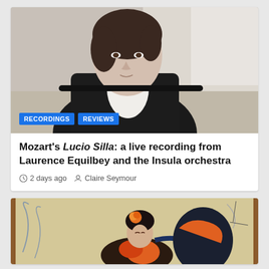[Figure (photo): Portrait photo of Laurence Equilbey, a woman with short brown hair wearing a black blazer and white shirt, photographed against a neutral background. Blue tags reading RECORDINGS and REVIEWS are overlaid at the bottom left.]
Mozart's Lucio Silla: a live recording from Laurence Equilbey and the Insula orchestra
2 days ago   Claire Seymour
[Figure (illustration): Colorful illustration or artwork showing figures with decorative elements, warm beige and orange tones suggesting a vintage or Art Nouveau style.]